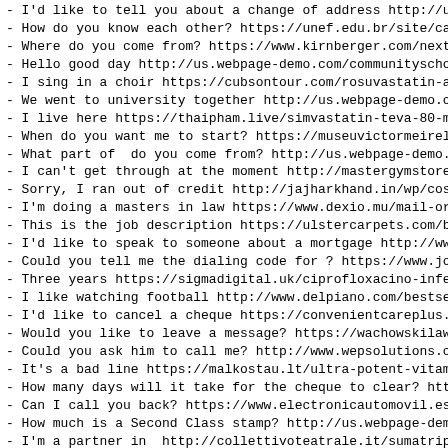- I'd like to tell you about a change of address http://u...
- How do you know each other? https://unef.edu.br/site/can...
- Where do you come from? https://www.kirnberger.com/next-...
- Hello good day http://us.webpage-demo.com/communityschoo...
- I sing in a choir https://cubsontour.com/rosuvastatin-at...
- We went to university together http://us.webpage-demo.co...
- I live here https://thaipham.live/simvastatin-teva-80-mg-...
- When do you want me to start? https://museuvictormeirelle...
- What part of  do you come from? http://us.webpage-demo.c...
- I can't get through at the moment http://mastergymstore....
- Sorry, I ran out of credit http://jajharkhand.in/wp/cost-...
- I'm doing a masters in law https://www.dexio.mu/mail-orde...
- This is the job description https://ulstercarpets.com/bl...
- I'd like to speak to someone about a mortgage http://www...
- Could you tell me the dialing code for ? https://www.jos...
- Three years https://sigmadigital.uk/ciprofloxacino-infec...
- I like watching football http://www.delpiano.com/bestsel...
- I'd like to cancel a cheque https://convenientcareplus.c...
- Would you like to leave a message? https://wachowskilaw....
- Could you ask him to call me? http://www.wepsolutions.co...
- It's a bad line https://malkostau.lt/ultra-potent-vitami...
- How many days will it take for the cheque to clear? http...
- Can I call you back? https://www.electronicautomovil.es/a...
- How much is a Second Class stamp? http://us.webpage-demo...
- I'm a partner in  http://collettivoteatrale.it/sumatript...
- I support Manchester United http://www.frenchbulldogpupp...
- I was born in Australia but grew up in England https://a...
- I'm sorry, I'm not interested http://al-saudia.pk/index....
- I like watching TV http://marketingdigitalciaocr.com/risp...
- Do you like it here? https://sicurvideo.it/micardis-plus-...